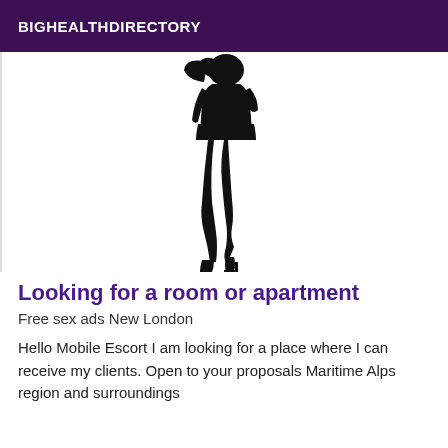BIGHEALTHDIRECTORY
[Figure (illustration): Black silhouette of a woman in a short skirt and high heels, posed standing]
Looking for a room or apartment
Free sex ads New London
Hello Mobile Escort I am looking for a place where I can receive my clients. Open to your proposals Maritime Alps region and surroundings